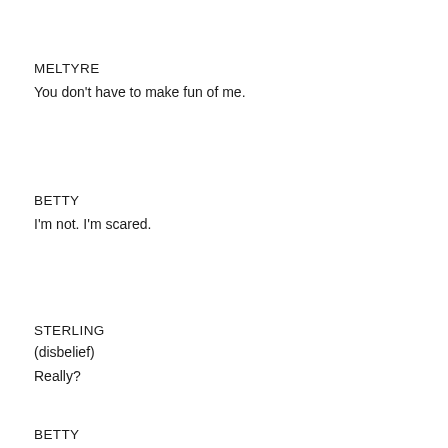MELTYRE
You don’t have to make fun of me.
BETTY
I’m not. I’m scared.
STERLING
(disbelief)
Really?
BETTY